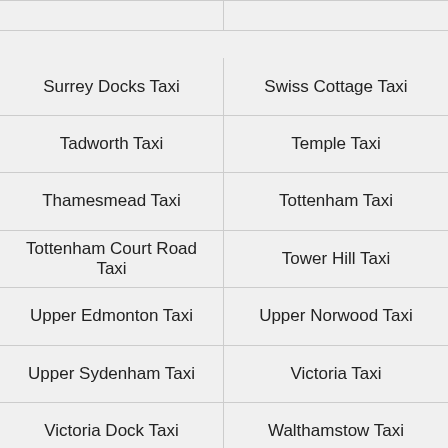| Surrey Docks Taxi | Swiss Cottage Taxi |
| Tadworth Taxi | Temple Taxi |
| Thamesmead Taxi | Tottenham Taxi |
| Tottenham Court Road Taxi | Tower Hill Taxi |
| Upper Edmonton Taxi | Upper Norwood Taxi |
| Upper Sydenham Taxi | Victoria Taxi |
| Victoria Dock Taxi | Walthamstow Taxi |